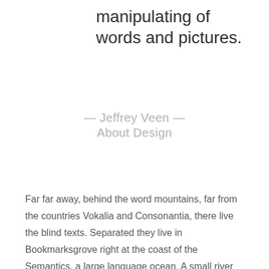manipulating of words and pictures.
— Jeffrey Veen —
About Design
Far far away, behind the word mountains, far from the countries Vokalia and Consonantia, there live the blind texts. Separated they live in Bookmarksgrove right at the coast of the Semantics, a large language ocean. A small river named Duden flows by their place and supplies it with the necessary regelialia. It is a paradisematic country, in which roasted parts of